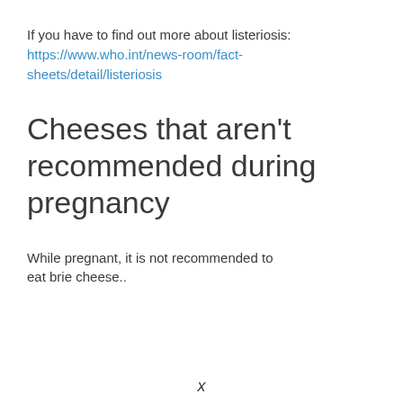If you have to find out more about listeriosis: https://www.who.int/news-room/fact-sheets/detail/listeriosis
Cheeses that aren't recommended during pregnancy
While pregnant, it is not recommended to eat brie cheese..